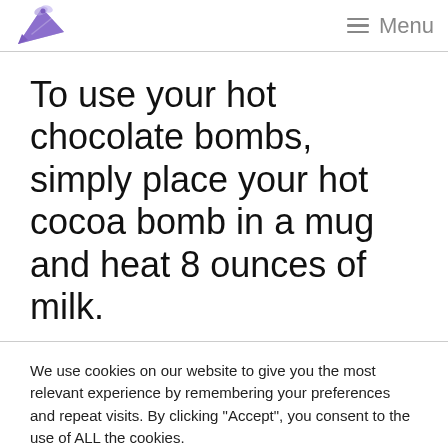Menu
To use your hot chocolate bombs, simply place your hot cocoa bomb in a mug and heat 8 ounces of milk.
We use cookies on our website to give you the most relevant experience by remembering your preferences and repeat visits. By clicking “Accept”, you consent to the use of ALL the cookies.
Do not sell my personal information.
Cookie settings   ACCEPT